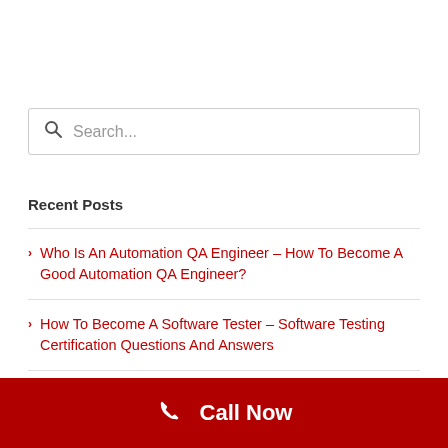Search...
Recent Posts
Who Is An Automation QA Engineer – How To Become A Good Automation QA Engineer?
How To Become A Software Tester – Software Testing Certification Questions And Answers
You Only Need These 8 QA Metrics To Improve
Call Now